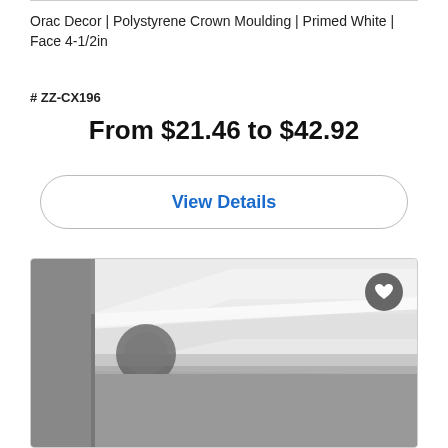Orac Decor | Polystyrene Crown Moulding | Primed White | Face 4-1/2in
# ZZ-CX196
From $21.46 to $42.92
View Details
[Figure (photo): Crown moulding product photo showing white primed polystyrene crown moulding installed at ceiling-wall junction, photographed in grayscale showing the profile detail.]